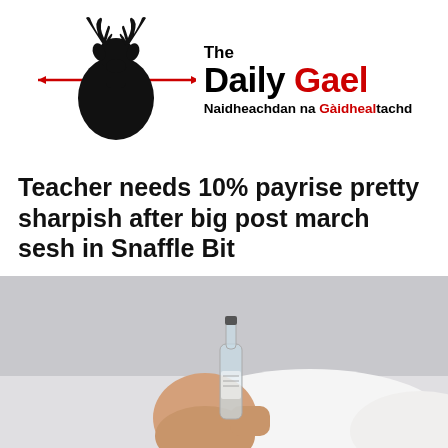[Figure (logo): The Daily Gael logo: a black stag silhouette with red arrows through it on the left, and the text 'The Daily Gael / Naidheachdan na Gàidhealtachd' on the right]
Teacher needs 10% payrise pretty sharpish after big post march sesh in Snaffle Bit
[Figure (photo): Photo of a person face down on a white surface next to a clear glass vodka bottle, suggesting heavy drinking]